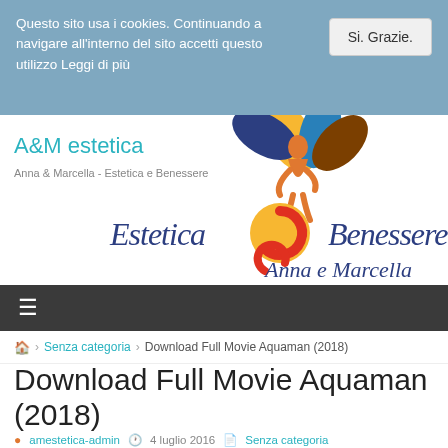Questo sito usa i cookies. Continuando a navigare all'interno del sito accetti questo utilizzo Leggi di più
Si. Grazie.
A&M estetica
Anna & Marcella - Estetica e Benessere
[Figure (logo): Estetica & Benessere Anna e Marcella logo with colorful leaf motif and swirl emblem, script text reading 'Estetica Benessere Anna e Marcella']
☰
🏠 › Senza categoria › Download Full Movie Aquaman (2018)
Download Full Movie Aquaman (2018)
amestetica-admin  4 luglio 2016  Senza categoria